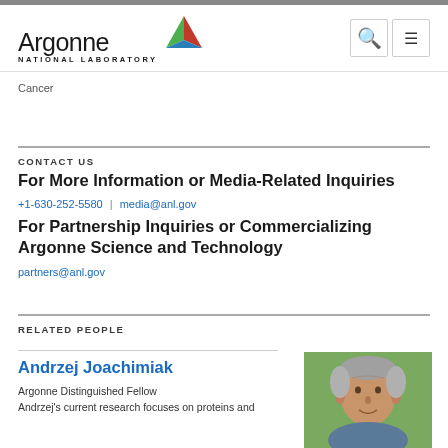Argonne NATIONAL LABORATORY
Cancer
CONTACT US
For More Information or Media-Related Inquiries
+1-630-252-5580  |  media@anl.gov
For Partnership Inquiries or Commercializing Argonne Science and Technology
partners@anl.gov
RELATED PEOPLE
Andrzej Joachimiak
Argonne Distinguished Fellow
Andrzej's current research focuses on proteins and
[Figure (photo): Headshot photo of Andrzej Joachimiak, an older man with grey hair, outdoors with green background]